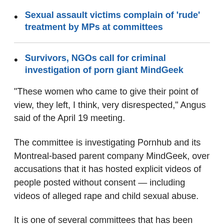Sexual assault victims complain of 'rude' treatment by MPs at committees
Survivors, NGOs call for criminal investigation of porn giant MindGeek
"These women who came to give their point of view, they left, I think, very disrespected," Angus said of the April 19 meeting.
The committee is investigating Pornhub and its Montreal-based parent company MindGeek, over accusations that it has hosted explicit videos of people posted without consent — including videos of alleged rape and child sexual abuse.
It is one of several committees that has been inviting